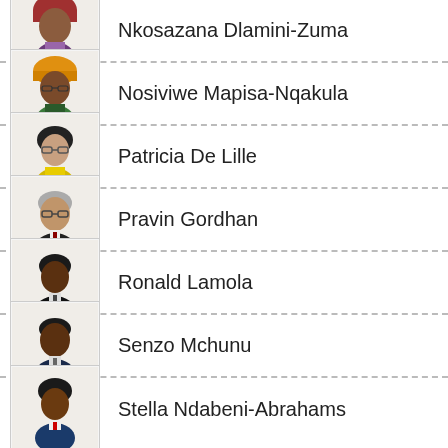Nkosazana Dlamini-Zuma
Nosiviwe Mapisa-Nqakula
Patricia De Lille
Pravin Gordhan
Ronald Lamola
Senzo Mchunu
Stella Ndabeni-Abrahams